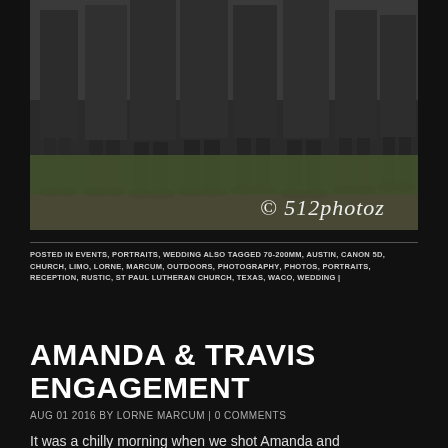[Figure (photo): Black and white photo showing the lower bodies/legs of several men in dark suits and dress shoes standing on grass, with a copyright watermark '© 512photoz' in white script text in the lower right.]
POSTED IN EVENTS, PORTRAITS, WEDDING ALSO TAGGED 70-200MM, AUSTIN, CANON 5D, CHURCH, LIMO, LORNE, MARCUM, OUTDOORS, PHOTOGRAPHY, PHOTOS, PORTRAITS, RECEPTION, RUSTIC, ST PAUL LUTHERAN CHURCH, TEXAS, WACO, WEDDING |
AMANDA & TRAVIS ENGAGEMENT
AUG 01 2016 BY LORNE MARCUM | 0 COMMENTS
It was a chilly morning when we shot Amanda and